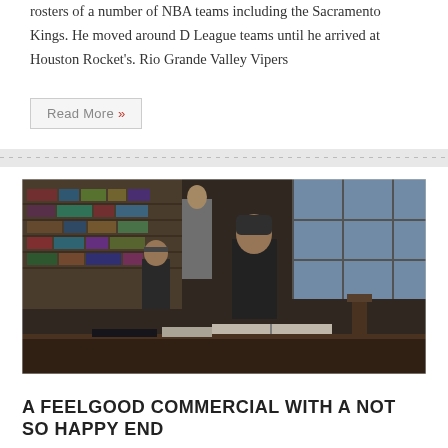rosters of a number of NBA teams including the Sacramento Kings. He moved around D League teams until he arrived at Houston Rocket's. Rio Grande Valley Vipers
Read More »
[Figure (photo): Students studying in a library setting, with bookshelves visible in the background. A young man in the foreground reads a book at a wooden table.]
A FEELGOOD COMMERCIAL WITH A NOT SO HAPPY END
MAYUR   DECEMBER 9, 2016   0
This is actually a brilliant take on that basketball playing gorilla from years ago. Except with a not so